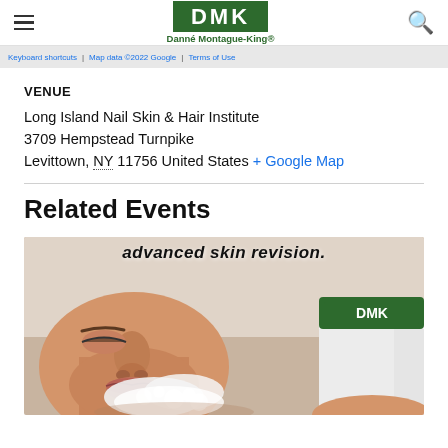DMK Danné Montague-King®
[Figure (screenshot): Partial Google Map with toolbar showing: Keyboard shortcuts | Map data ©2022 Google | Terms of Use]
VENUE
Long Island Nail Skin & Hair Institute
3709 Hempstead Turnpike
Levittown, NY 11756 United States + Google Map
Related Events
[Figure (photo): Photo of a woman lying down receiving a facial treatment with DMK skincare product. Overlaid text reads: advanced skin revision.]